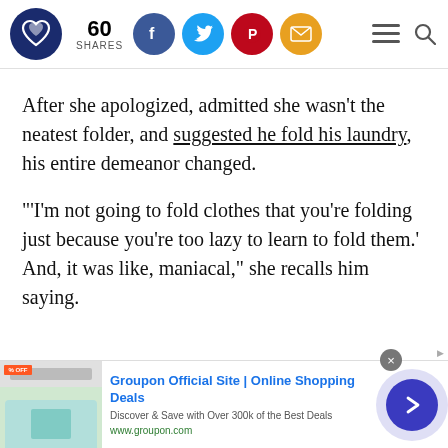60 SHARES [social icons: Facebook, Twitter, Pinterest, Email] [hamburger menu] [search]
After she apologized, admitted she wasn't the neatest folder, and suggested he fold his laundry, his entire demeanor changed.
"'I'm not going to fold clothes that you're folding just because you're too lazy to learn to fold them.' And, it was like, maniacal," she recalls him saying.
[Figure (screenshot): Groupon advertisement banner: Groupon Official Site | Online Shopping Deals. Discover & Save with Over 300k of the Best Deals. www.groupon.com. With close button and arrow button.]